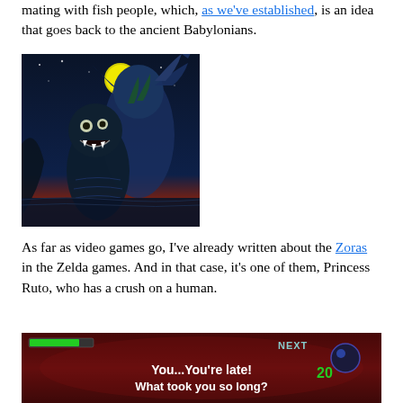mating with fish people, which, as we've established, is an idea that goes back to the ancient Babylonians.
[Figure (illustration): Fantasy/horror illustration of humanoid fish-people creatures with scales and fins, standing against a dark blue night sky with a yellow full moon. The creatures have wide mouths with teeth. Dark atmospheric background with hints of red/orange at the horizon.]
As far as video games go, I've already written about the Zoras in the Zelda games. And in that case, it's one of them, Princess Ruto, who has a crush on a human.
[Figure (screenshot): Video game screenshot showing a dark reddish scene. White text reads: 'You...You're late! What took you so long?' UI elements visible including a green health bar in the upper left and the number 20 in green on the right side. The word 'next' appears partially at the top.]